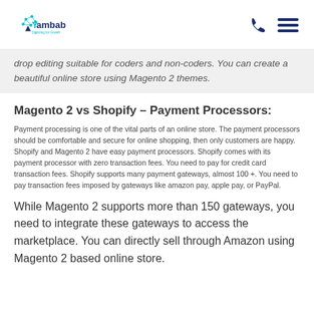Yambab – Digitizing for Growth
drop editing suitable for coders and non-coders. You can create a beautiful online store using Magento 2 themes.
Magento 2 vs Shopify – Payment Processors:
Payment processing is one of the vital parts of an online store. The payment processors should be comfortable and secure for online shopping, then only customers are happy. Shopify and Magento 2 have easy payment processors. Shopify comes with its payment processor with zero transaction fees. You need to pay for credit card transaction fees. Shopify supports many payment gateways, almost 100+. You need to pay transaction fees imposed by gateways like amazon pay, apple pay, or PayPal.
While Magento 2 supports more than 150 gateways, you need to integrate these gateways to access the marketplace. You can directly sell through Amazon using Magento 2 based online store.